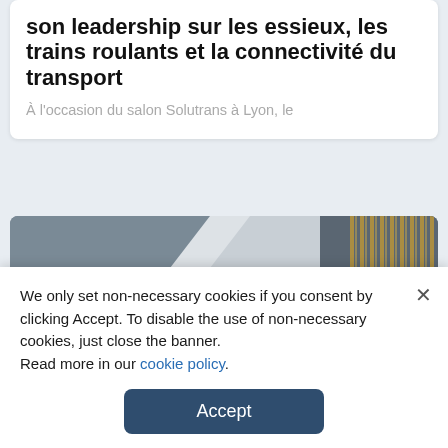son leadership sur les essieux, les trains roulants et la connectivité du transport
À l'occasion du salon Solutrans à Lyon, le
[Figure (photo): Partially visible image with geometric shapes including gray and white triangular forms and gold/bronze horizontal striped pattern on right side]
We only set non-necessary cookies if you consent by clicking Accept. To disable the use of non-necessary cookies, just close the banner.
Read more in our cookie policy.